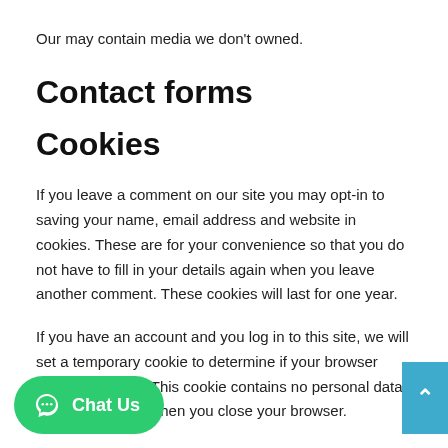Our may contain media we don't owned.
Contact forms
Cookies
If you leave a comment on our site you may opt-in to saving your name, email address and website in cookies. These are for your convenience so that you do not have to fill in your details again when you leave another comment. These cookies will last for one year.
If you have an account and you log in to this site, we will set a temporary cookie to determine if your browser accepts cookies. This cookie contains no personal data and is discarded when you close your browser.